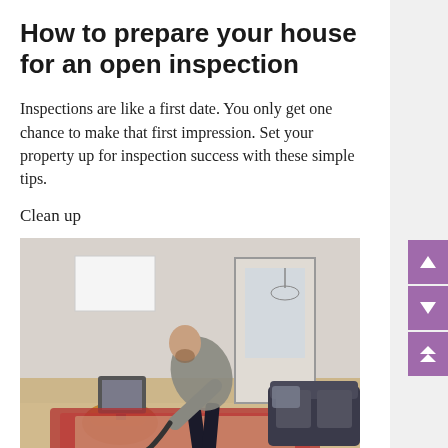How to prepare your house for an open inspection
Inspections are like a first date. You only get one chance to make that first impression. Set your property up for inspection success with these simple tips.
Clean up
[Figure (photo): A man vacuuming a living room floor with a vacuum cleaner, bending forward over a colourful rug. There is a sofa on the right, a wooden TV stand with a monitor on the left, and a doorway in the background.]